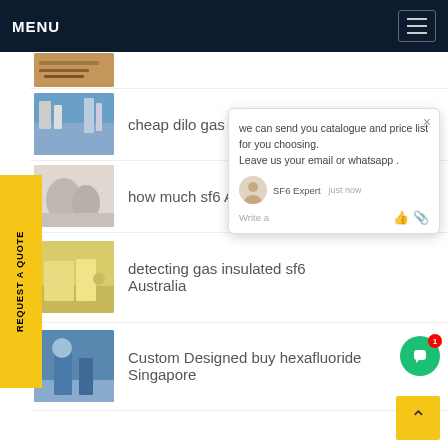MENU
cheap dilo gas Australia
how much sf6 Australia
detecting gas insulated sf6 Australia
Custom Designed buy hexafluoride Singapore
[Figure (screenshot): Chat popup overlay with message: we can send you catalogue and price list for you choosing. Leave us your email or whatsapp. SF6 Expert - just now. Write a message input area.]